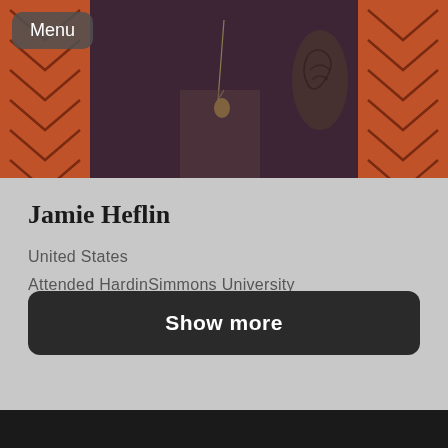[Figure (photo): Profile photo of Jamie Heflin against a red/orange chevron patterned background. The person is wearing a necklace with a pendant and a patterned garment with visible tattoo on arm.]
Menu
Jamie Heflin
United States
Attended HardinSimmons University
Show more